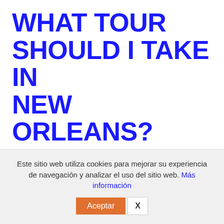WHAT TOUR SHOULD I TAKE IN NEW ORLEANS?
By Sarah
Not sure what tour to take? Check out the quick summary of our tours. If you don't see a tour on our schedule that fits
Este sitio web utiliza cookies para mejorar su experiencia de navegación y analizar el uso del sitio web. Más información
Aceptar  X